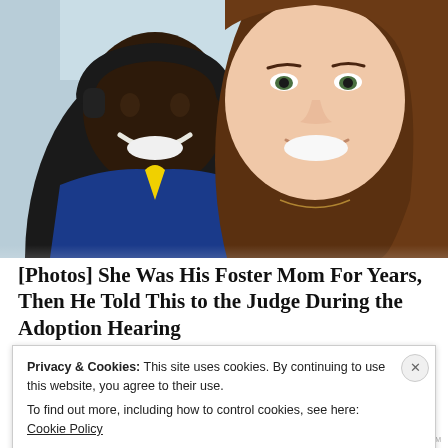[Figure (photo): Selfie photo of two people smiling. On the left is a young Black boy wearing headphones and a blue and yellow sports jacket. On the right is a young white woman with long brown hair.]
[Photos] She Was His Foster Mom For Years, Then He Told This to the Judge During the Adoption Hearing
Privacy & Cookies: This site uses cookies. By continuing to use this website, you agree to their use.
To find out more, including how to control cookies, see here: Cookie Policy
Close and accept